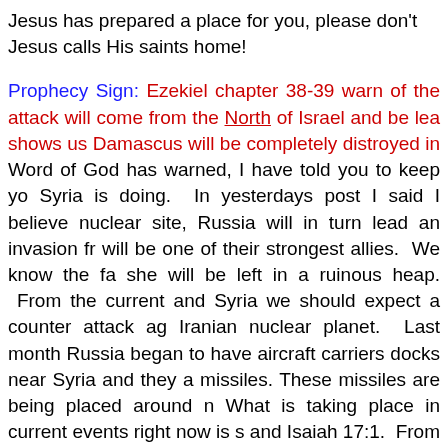Jesus has prepared a place for you, please don't Jesus calls His saints home!
Prophecy Sign: Ezekiel chapter 38-39 warn of the attack will come from the North of Israel and be lea shows us Damascus will be completely distroyed in Word of God has warned, I have told you to keep yo Syria is doing. In yesterdays post I said I believe nuclear site, Russia will in turn lead an invasion fr will be one of their strongest allies. We know the fa she will be left in a ruinous heap. From the current and Syria we should expect a counter attack ag Iranian nuclear planet. Last month Russia began to have aircraft carriers docks near Syria and they a missiles. These missiles are being placed around n What is taking place in current events right now is s and Isaiah 17:1. From the news we can see the ha a look at what is happening. A new report out today its naval forces to a much larger degree, its de contribute more to symbolic and diplomatic activi